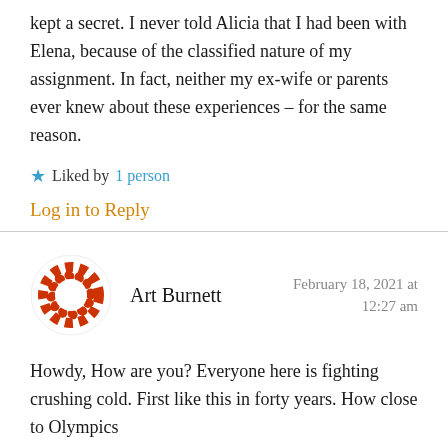kept a secret. I never told Alicia that I had been with Elena, because of the classified nature of my assignment. In fact, neither my ex-wife or parents ever knew about these experiences – for the same reason.
★ Liked by 1 person
Log in to Reply
[Figure (illustration): Circular avatar icon made of red and white puzzle-like interlocking pieces forming a ring shape, on white background]
Art Burnett
February 18, 2021 at 12:27 am
Howdy, How are you? Everyone here is fighting crushing cold. First like this in forty years. How close to Olympics